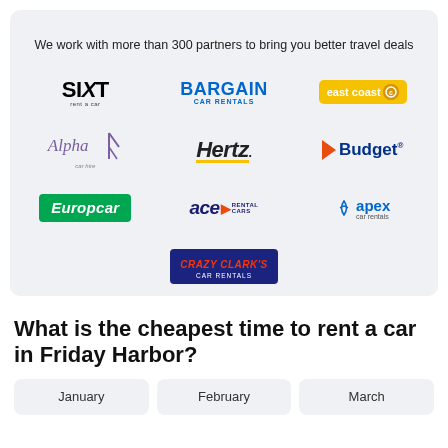We work with more than 300 partners to bring you better travel deals
[Figure (logo): Grid of car rental company logos: Sixt, Bargain Car Rentals, East Coast Car Rentals, Alpha Car Hire, Hertz, Budget, Europcar, ACE Rental Cars, Apex Car Rentals, Crazy Clark's Car Rentals]
What is the cheapest time to rent a car in Friday Harbor?
January
February
March